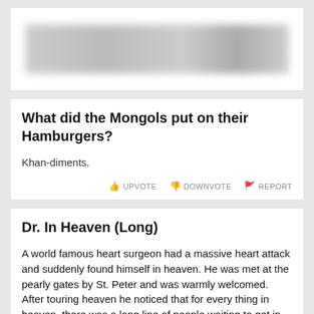[Figure (other): Blurred/redacted top card with obscured content]
What did the Mongols put on their Hamburgers?
Khan-diments.
UPVOTE  DOWNVOTE  REPORT
Dr. In Heaven (Long)
A world famous heart surgeon had a massive heart attack and suddenly found himself in heaven. He was met at the pearly gates by St. Peter and was warmly welcomed.
After touring heaven he noticed that for every thing in heaven, there was a long line of people waiting to get in. Movies-line, bathro… read more